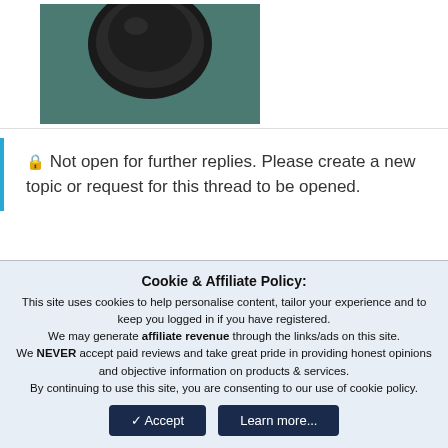[Figure (photo): A dark round object photographed against a teal/green background, partially cropped at the top of the page.]
Not open for further replies. Please create a new topic or request for this thread to be opened.
Be a part of the community Get 3
HCA Results
Cookie & Affiliate Policy: This site uses cookies to help personalise content, tailor your experience and to keep you logged in if you have registered. We may generate affiliate revenue through the links/ads on this site. We NEVER accept paid reviews and take great pride in providing honest opinions and objective information on products & services. By continuing to use this site, you are consenting to our use of cookie policy.